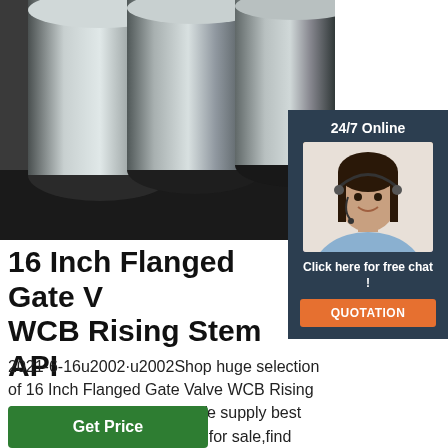[Figure (photo): Three large steel round bars/rods lying on a dark surface, photographed from the front showing their circular cross-sections]
[Figure (infographic): Dark navy panel with '24/7 Online' text, photo of a female customer service agent with headset, 'Click here for free chat!' text, and an orange QUOTATION button]
16 Inch Flanged Gate Valve WCB Rising Stem API
2021-6-16u2002·u2002Shop huge selection of 16 Inch Flanged Gate Valve WCB Rising Stem API 600 on Dervos. We supply best various Flanged Gate Valve for sale,find great …
[Figure (logo): Orange TOP logo with dots arranged in an arc above the word TOP in bold orange letters]
Get Price